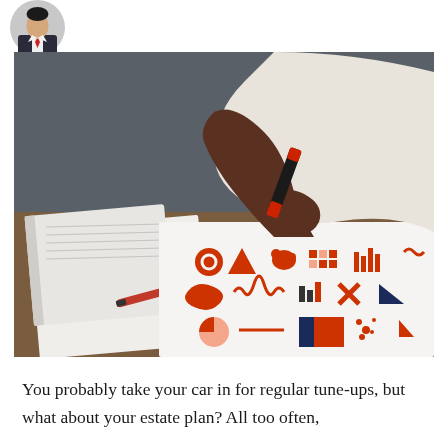[Figure (photo): Circular avatar/headshot photo of a person in a suit, positioned at top left corner]
[Figure (photo): Person with dark skin holding a red marker/pen, pointing at a white paper with multiple orange and red infographic icons/charts arranged in a grid, on a wooden desk with a notebook and another red pen nearby]
You probably take your car in for regular tune-ups, but what about your estate plan? All too often,